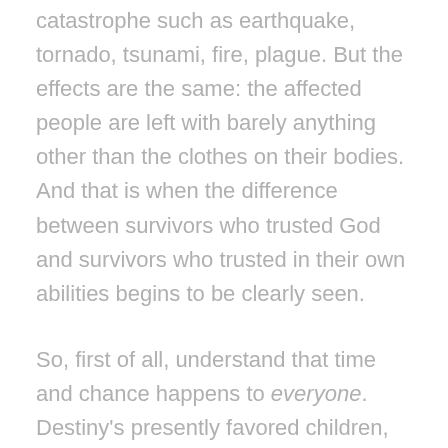catastrophe such as earthquake, tornado, tsunami, fire, plague. But the effects are the same: the affected people are left with barely anything other than the clothes on their bodies. And that is when the difference between survivors who trusted God and survivors who trusted in their own abilities begins to be clearly seen.
So, first of all, understand that time and chance happens to everyone. Destiny's presently favored children, who are basking in their luxurious lifestyles, will wake up sooner or later to their shocking realization that destiny favors no one,